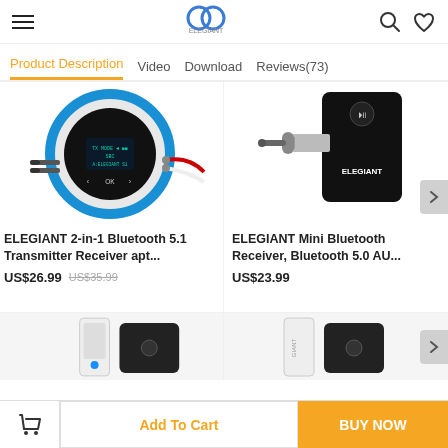[Figure (screenshot): ELEGIANT brand logo with blue overlapping circles icon]
Product Description   Video   Download   Reviews(73)
[Figure (photo): ELEGIANT 2-in-1 Bluetooth transmitter receiver device with circular blue LED ring and audio cables]
[Figure (photo): ELEGIANT Mini Bluetooth Receiver with 3.5mm audio jack connector]
ELEGIANT 2-in-1 Bluetooth 5.1 Transmitter Receiver apt...
US$26.99  US$35.99
ELEGIANT Mini Bluetooth Receiver, Bluetooth 5.0 AU...
US$23.99
[Figure (photo): Partial view of ELEGIANT Bluetooth device, bottom left]
[Figure (photo): Partial view of ELEGIANT Bluetooth device, bottom right]
Add To Cart
BUY NOW